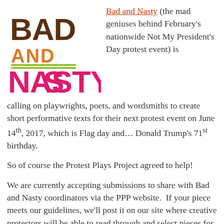[Figure (logo): Bad and Nasty logo with 'BAD' in dark brown distressed font with a star, 'AND' in orange with double green underlines, and 'NASTY' in hot pink distressed font]
Bad and Nasty (the mad geniuses behind February's nationwide Not My President's Day protest event) is calling on playwrights, poets, and wordsmiths to create short performative texts for their next protest event on June 14th, 2017, which is Flag day and… Donald Trump's 71st birthday.
So of course the Protest Plays Project agreed to help!
We are currently accepting submissions to share with Bad and Nasty coordinators via the PPP website. If your piece meets our guidelines, we'll post it on our site where creative protestors will be able to read through and select pieces for readings or